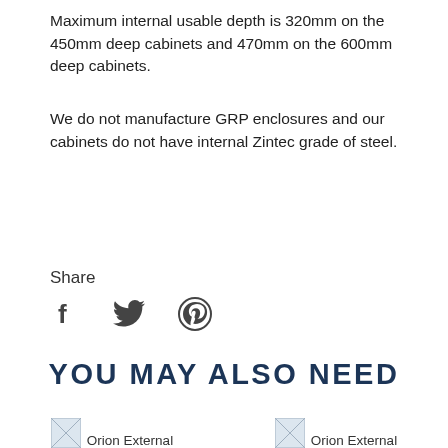Maximum internal usable depth is 320mm on the 450mm deep cabinets and 470mm on the 600mm deep cabinets.
We do not manufacture GRP enclosures and our cabinets do not have internal Zintec grade of steel.
Share
[Figure (infographic): Social share icons: Facebook (f), Twitter (bird), Pinterest (P circle)]
YOU MAY ALSO NEED
[Figure (photo): Orion External product thumbnail image (broken/placeholder)]
Orion External
[Figure (photo): Orion External product thumbnail image (broken/placeholder)]
Orion External